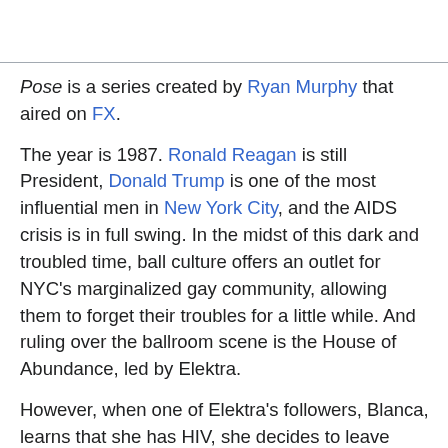Pose is a series created by Ryan Murphy that aired on FX.
The year is 1987. Ronald Reagan is still President, Donald Trump is one of the most influential men in New York City, and the AIDS crisis is in full swing. In the midst of this dark and troubled time, ball culture offers an outlet for NYC's marginalized gay community, allowing them to forget their troubles for a little while. And ruling over the ballroom scene is the House of Abundance, led by Elektra.
However, when one of Elektra's followers, Blanca, learns that she has HIV, she decides to leave Abundance to start her own house. She is soon followed by Angel, who was cast out of Abundance, and Damon, a young gay newcomer who aspires to be a dancer. Together, they plan to challenge the House of Abundance and take its place as the leader of the ballroom community.